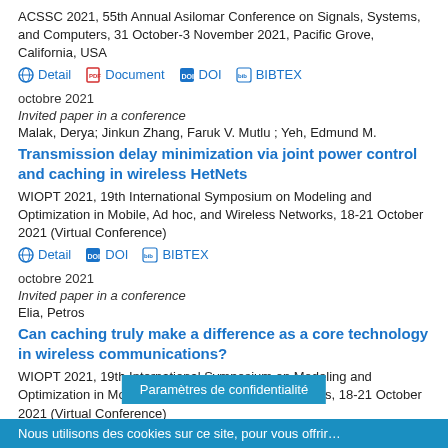ACSSC 2021, 55th Annual Asilomar Conference on Signals, Systems, and Computers, 31 October-3 November 2021, Pacific Grove, California, USA
Detail | Document | DOI | BIBTEX
octobre 2021
Invited paper in a conference
Malak, Derya; Jinkun Zhang, Faruk V. Mutlu ; Yeh, Edmund M.
Transmission delay minimization via joint power control and caching in wireless HetNets
WIOPT 2021, 19th International Symposium on Modeling and Optimization in Mobile, Ad hoc, and Wireless Networks, 18-21 October 2021 (Virtual Conference)
Detail | DOI | BIBTEX
octobre 2021
Invited paper in a conference
Elia, Petros
Can caching truly make a difference as a core technology in wireless communications?
WIOPT 2021, 19th International Symposium on Modeling and Optimization in Mobile, Ad Hoc and Wireless Networks, 18-21 October 2021 (Virtual Conference)
Detail | BIRT...
Paramètres de confidentialité
Nous utilisons des cookies sur ce site, pour vous offrir...